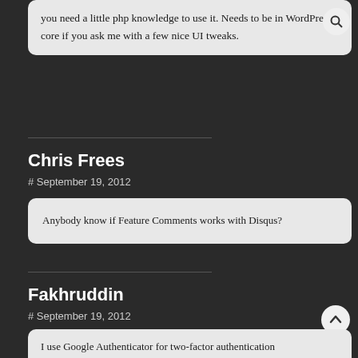you need a little php knowledge to use it. Needs to be in WordPress core if you ask me with a few nice UI tweaks.
Chris Frees
# September 19, 2012
Anybody know if Feature Comments works with Disqus?
Fakhruddin
# September 19, 2012
I use Google Authenticator for two-factor authentication